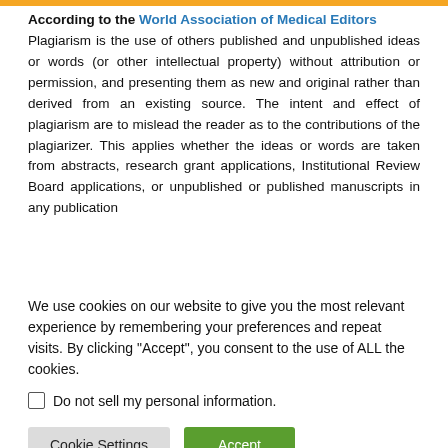According to the World Association of Medical Editors Plagiarism is the use of others published and unpublished ideas or words (or other intellectual property) without attribution or permission, and presenting them as new and original rather than derived from an existing source. The intent and effect of plagiarism are to mislead the reader as to the contributions of the plagiarizer. This applies whether the ideas or words are taken from abstracts, research grant applications, Institutional Review Board applications, or unpublished or published manuscripts in any publication
We use cookies on our website to give you the most relevant experience by remembering your preferences and repeat visits. By clicking "Accept", you consent to the use of ALL the cookies.
Do not sell my personal information.
Cookie Settings | Accept